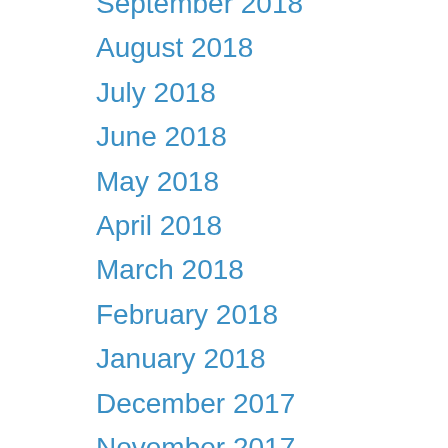September 2018
August 2018
July 2018
June 2018
May 2018
April 2018
March 2018
February 2018
January 2018
December 2017
November 2017
September 2017
August 2017
July 2017
June 2017